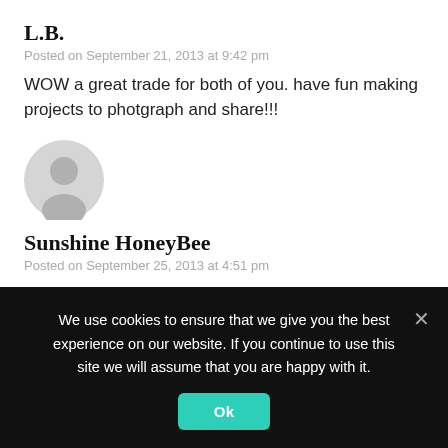L.B.
Posted on September 21, 2013 at 9:42 pm
WOW a great trade for both of you. have fun making projects to photgraph and share!!!
[Figure (illustration): Default user avatar icon - grey circle with silhouette]
Sunshine HoneyBee
Posted on September 25, 2013 at 4:51 pm
Wow! I like Canon equipment. I have the Canon T3i. Traded in a T2i & one other for the T3i. Enjoy!
Melissa
We use cookies to ensure that we give you the best experience on our website. If you continue to use this site we will assume that you are happy with it.